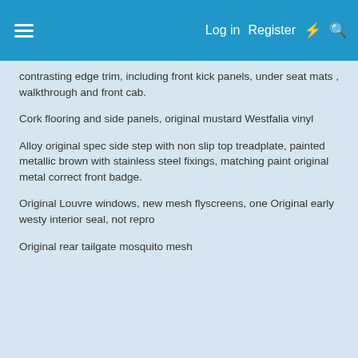Log in  Register
contrasting edge trim, including front kick panels, under seat mats , walkthrough and front cab.
Cork flooring and side panels, original mustard Westfalia vinyl
Alloy original spec side step with non slip top treadplate, painted metallic brown with stainless steel fixings, matching paint original metal correct front badge.
Original Louvre windows, new mesh flyscreens, one Original early westy interior seal, not repro
Original rear tailgate mosquito mesh